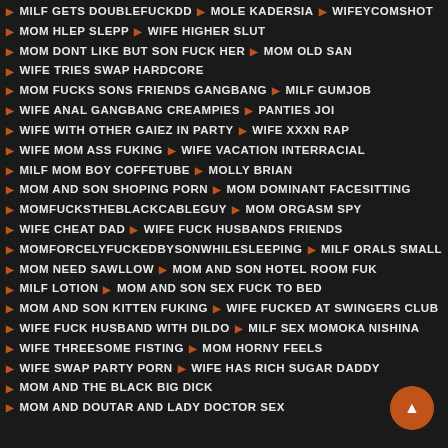MILF GETS DOUBLEFUCKDD ▶ MOLE KADERSIA ▶ WIFEYCOMSHOT
MOM HLEP SLEPP ▶ WIFE HIGHER SLUT
MOM DONT LIKE BUT SON FUCK HER ▶ MOM OLD SAN
WIFE TRIES SWAP HARDCORE
MOM FUCKS SONS FRIENDS GANGBANG ▶ MILF GUMJOB
WIFE ANAL GANGBANG CREAMPIES ▶ PANTIES JOI
WIFE WITH OTHER GAIEZ IN PARTY ▶ WIFE XXXN RAP
WIFE MOM ASS FUKING ▶ WIFE VACATION INTERRACIAL
MILF MOM BOY COFFETUBE ▶ MOLLY BRIAN
MOM AND SON SHOPING PORN ▶ MOM DOMINANT FACESITTING
MOMFUCKSTHEBLACKCABLEGUY ▶ MOM ORGASM SPY
WIFE CHEAT DAD ▶ WIFE FUCK HUSBANDS FRIENDS
MOMFORCELYFUCKEDBYSONWHILESLEEPING ▶ MILF ORALS SMALL
MOM NEED SAWLLOW ▶ MOM AND SON HOTEL ROOM FUK
MILF LOTION ▶ MOM AND SON SEX FUCK TO BED
MOM AND SON KITTEN FUKING ▶ WIFE FUCKED AT SWINGERS CLUB
WIFE FUCK HUSBAND WITH DILDO ▶ MILF SEX MOMOKA NISHINA
WIFE THREESOME FISTING ▶ MOM HORNY FEELS
WIFE SWAP PARTY PORN ▶ WIFE HAS RICH SUGAR DADDY
MOM AND THE BLACK BIG DICK
MOM AND DOUTAR AND LADY DOCTOR SEX